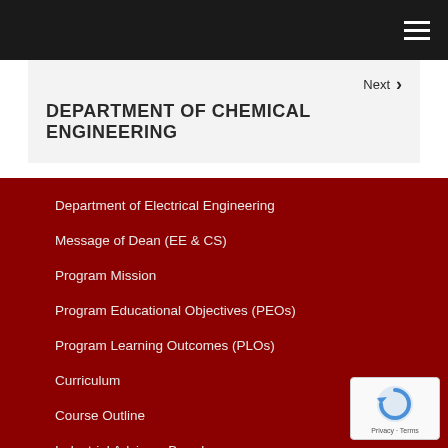Navigation bar with hamburger menu
DEPARTMENT OF CHEMICAL ENGINEERING
Department of Electrical Engineering
Message of Dean (EE & CS)
Program Mission
Program Educational Objectives (PEOs)
Program Learning Outcomes (PLOs)
Curriculum
Course Outline
Industrial Advisory Board